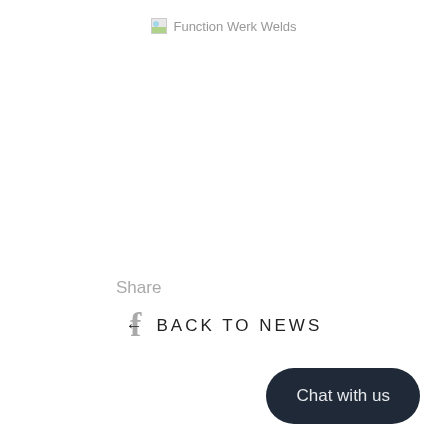Function Werk Welds
Share
[Figure (logo): Facebook 'f' icon in gray]
← BACK TO NEWS
Chat with us